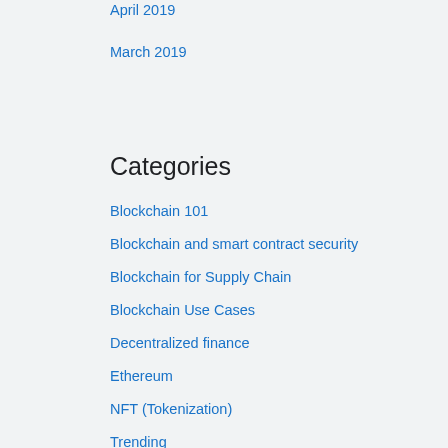April 2019
March 2019
Categories
Blockchain 101
Blockchain and smart contract security
Blockchain for Supply Chain
Blockchain Use Cases
Decentralized finance
Ethereum
NFT (Tokenization)
Trending